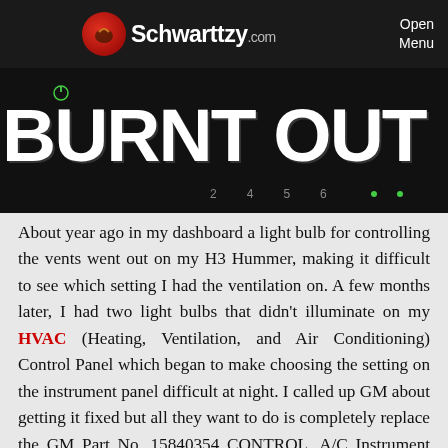Schwarttzy.com  Open Menu
[Figure (illustration): Burnt Out game/blog banner with dark background, large white bold text reading 'BURNT OUT', power icon, and numbered indicators]
About year ago in my dashboard a light bulb for controlling the vents went out on my H3 Hummer, making it difficult to see which setting I had the ventilation on. A few months later, I had two light bulbs that didn't illuminate on my HVAC (Heating, Ventilation, and Air Conditioning) Control Panel which began to make choosing the setting on the instrument panel difficult at night. I called up GM about getting it fixed but all they want to do is completely replace the GM Part No. 15840354 CONTROL, A/C Instrument Panel, or with the part ACDelco 15-73909 GM Original Equipment Heating and Air Conditioning Control Panel with Rear Wind...